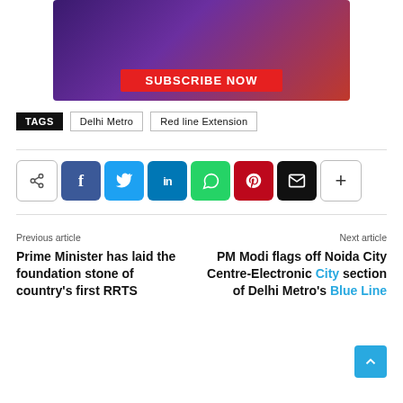[Figure (illustration): Subscribe Now promotional banner with orange and purple background, showing magazine covers with 'Tui' branding and a red 'SUBSCRIBE NOW' button]
TAGS  Delhi Metro  Red line Extension
[Figure (infographic): Social share buttons row: share icon, Facebook (f), Twitter (bird/y), LinkedIn (in), WhatsApp, Pinterest (p), Email (envelope), More (+)]
Previous article
Prime Minister has laid the foundation stone of country's first RRTS
Next article
PM Modi flags off Noida City Centre-Electronic City section of Delhi Metro's Blue Line